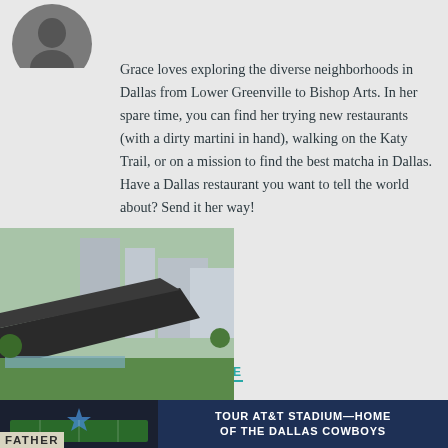[Figure (photo): Circular avatar/profile photo of a person, partially cropped at top]
Grace loves exploring the diverse neighborhoods in Dallas from Lower Greenville to Bishop Arts. In her spare time, you can find her trying new restaurants (with a dirty martini in hand), walking on the Katy Trail, or on a mission to find the best matcha in Dallas. Have a Dallas restaurant you want to tell the world about? Send it her way!
DROP ME A LINE
[Figure (photo): Outdoor photo of a modern pavilion structure with glass buildings in the background, green lawn, Dallas cityscape]
[Figure (photo): Bottom strip showing AT&T Stadium Dallas Cowboys interior with dark overlay and white text reading: TOUR AT&T STADIUM—HOME OF THE DALLAS COWBOYS]
FATHER